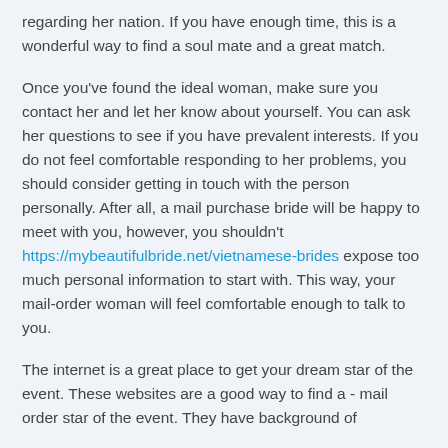regarding her nation. If you have enough time, this is a wonderful way to find a soul mate and a great match.
Once you've found the ideal woman, make sure you contact her and let her know about yourself. You can ask her questions to see if you have prevalent interests. If you do not feel comfortable responding to her problems, you should consider getting in touch with the person personally. After all, a mail purchase bride will be happy to meet with you, however, you shouldn't https://mybeautifulbride.net/vietnamese-brides expose too much personal information to start with. This way, your mail-order woman will feel comfortable enough to talk to you.
The internet is a great place to get your dream star of the event. These websites are a good way to find a - mail order star of the event. They have background of